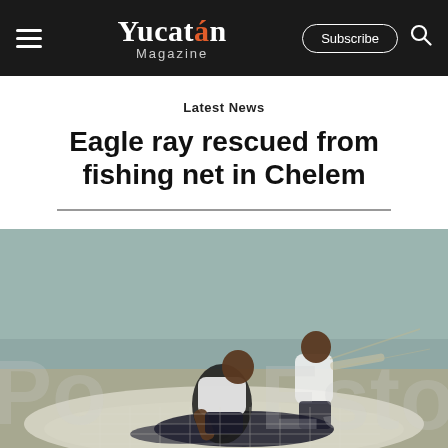Yucatán Magazine — Subscribe
Latest News
Eagle ray rescued from fishing net in Chelem
[Figure (photo): Two men on a beach working to free an eagle ray from a fishing net. One man is crouching down near the ray, the other stands behind. A large fishing net is visible around them. Watermark text partially visible on left and right sides of the image.]